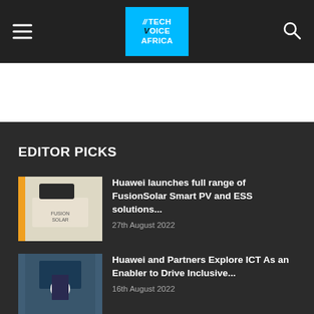Tech Voice Africa — navigation header with hamburger menu, logo, and search icon
[Figure (logo): Tech Voice Africa logo — blue square with white bold text TECH VOICE AFRICA]
EDITOR PICKS
[Figure (photo): Photo of a man in a suit speaking at a podium with a Huawei FusionSolar banner]
Huawei launches full range of FusionSolar Smart PV and ESS solutions...
27th August 2022
[Figure (photo): Photo of a man in a suit gesturing in front of a dark board]
Huawei and Partners Explore ICT As an Enabler to Drive Inclusive...
16th August 2022